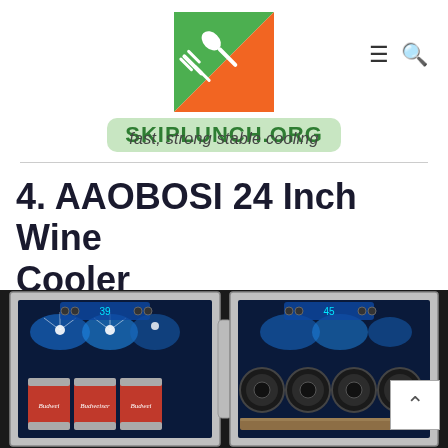SKIPLUNCH.ORG
fast, strong stable cooling
4. AAOBOSI 24 Inch Wine Cooler
[Figure (photo): AAOBOSI 24 inch dual zone wine cooler with stainless steel frame glass doors, showing beer cans on the left side with blue LED lighting and wine bottles on the right side with blue LED lighting, temperature displays showing 39 and 45 degrees.]